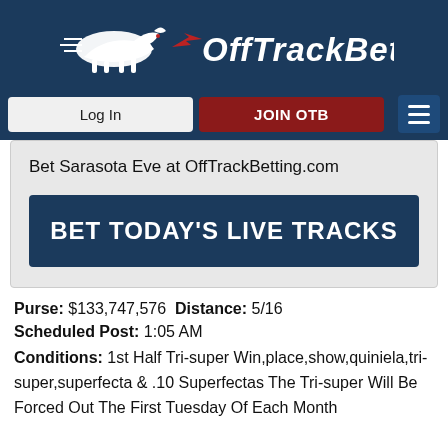[Figure (logo): OffTrackBetting.com logo with white horse/rocket graphic and white italic text on dark navy background]
[Figure (screenshot): Navigation bar with Log In button, JOIN OTB button, and hamburger menu on dark navy background]
Bet Sarasota Eve at OffTrackBetting.com
[Figure (screenshot): Dark navy button with white text: BET TODAY'S LIVE TRACKS]
Purse: $133,747,576 Distance: 5/16
Scheduled Post: 1:05 AM
Conditions: 1st Half Tri-super Win,place,show,quiniela,tri-super,superfecta & .10 Superfectas The Tri-super Will Be Forced Out The First Tuesday Of Each Month